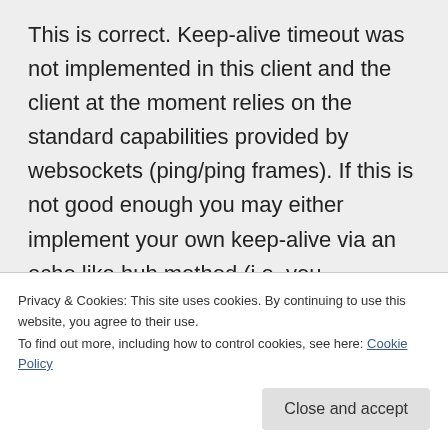This is correct. Keep-alive timeout was not implemented in this client and the client at the moment relies on the standard capabilities provided by websockets (ping/ping frames). If this is not good enough you may either implement your own keep-alive via an echo like hub method (i.e. you periodically send a message to the server and if you don't receive a response within a timeout you stop and start the connection) or you
Privacy & Cookies: This site uses cookies. By continuing to use this website, you agree to their use.
To find out more, including how to control cookies, see here: Cookie Policy